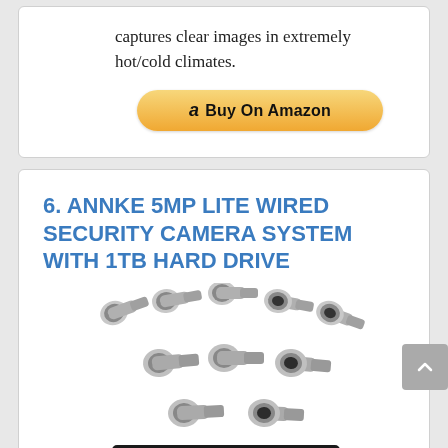captures clear images in extremely hot/cold climates.
[Figure (other): Buy On Amazon button with Amazon logo]
6. ANNKE 5MP LITE WIRED SECURITY CAMERA SYSTEM WITH 1TB HARD DRIVE
[Figure (photo): Product photo of ANNKE security camera system: 8 bullet cameras arranged in rows above a black DVR unit with a 1TB hard drive label]
1080p Wired Security Cameras & 8